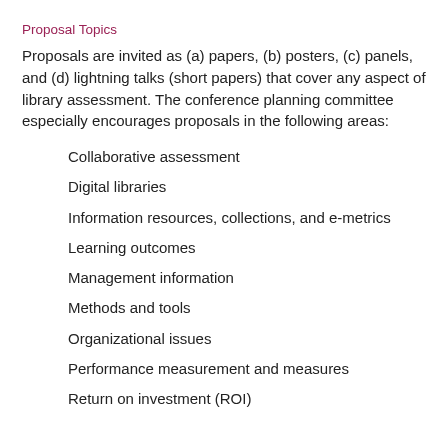Proposal Topics
Proposals are invited as (a) papers, (b) posters, (c) panels, and (d) lightning talks (short papers) that cover any aspect of library assessment. The conference planning committee especially encourages proposals in the following areas:
Collaborative assessment
Digital libraries
Information resources, collections, and e-metrics
Learning outcomes
Management information
Methods and tools
Organizational issues
Performance measurement and measures
Return on investment (ROI)